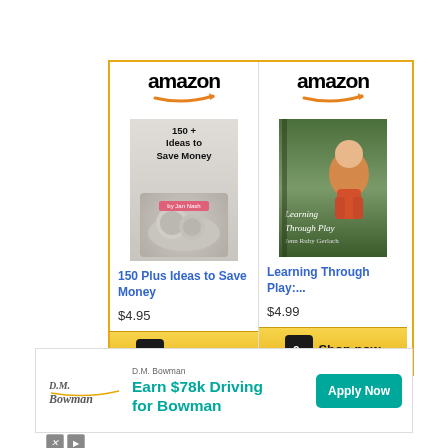[Figure (infographic): Amazon affiliate widget showing two book listings side by side. Left: '150 Plus Ideas to Save Money' priced at $4.95. Right: 'Learning Through Play:...' priced at $4.99. Both have Amazon logo at top, book cover image, title in blue, price, and a gold 'Shop now' button at bottom.]
[Figure (infographic): D.M. Bowman advertisement banner. Shows D.M. Bowman logo on left, 'Earn $78k Driving for Bowman' text in teal in center, and a teal 'Apply Now' button on the right. Small ad icons at bottom left.]